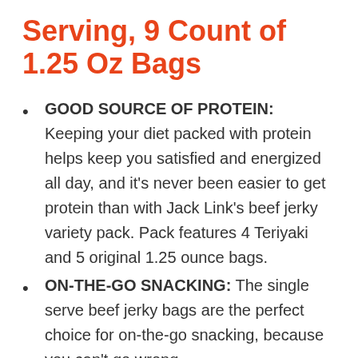Serving, 9 Count of 1.25 Oz Bags
GOOD SOURCE OF PROTEIN: Keeping your diet packed with protein helps keep you satisfied and energized all day, and it's never been easier to get protein than with Jack Link's beef jerky variety pack. Pack features 4 Teriyaki and 5 original 1.25 ounce bags.
ON-THE-GO SNACKING: The single serve beef jerky bags are the perfect choice for on-the-go snacking, because you can't go wrong.